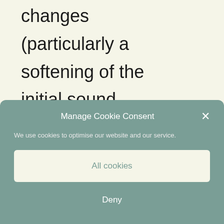changes (particularly a softening of the initial sound represented by an "h" after the
[Figure (screenshot): Cookie consent dialog overlay with title 'Manage Cookie Consent', description 'We use cookies to optimise our website and our service.', an 'All cookies' button, and a 'Deny' button, with a close (×) icon in the top right.]